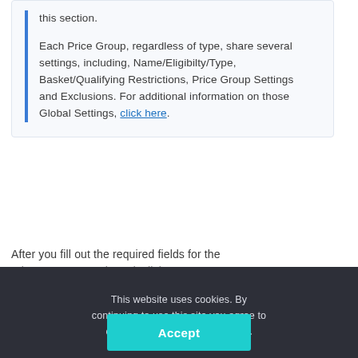this section.
Each Price Group, regardless of type, share several settings, including, Name/Eligibilty/Type, Basket/Qualifying Restrictions, Price Group Settings and Exclusions. For additional information on those Global Settings, click here.
After you fill out the required fields for the price group you selected, click Save...
In...
Price...
Price...
Price Group Additional Details...
This website uses cookies. By continuing to use this site you agree to our use of cookies. Learn More.